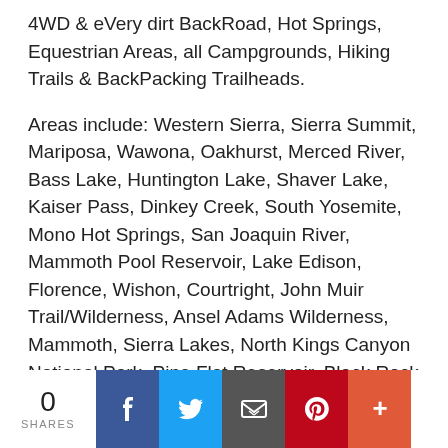4WD & eVery dirt BackRoad, Hot Springs, Equestrian Areas, all Campgrounds, Hiking Trails & BackPacking Trailheads.
Areas include: Western Sierra, Sierra Summit, Mariposa, Wawona, Oakhurst, Merced River, Bass Lake, Huntington Lake, Shaver Lake, Kaiser Pass, Dinkey Creek, South Yosemite, Mono Hot Springs, San Joaquin River, Mammoth Pool Reservoir, Lake Edison, Florence, Wishon, Courtright, John Muir Trail/Wilderness, Ansel Adams Wilderness, Mammoth, Sierra Lakes, North Kings Canyon National Park, Pine Flat Reservoir, Black Rock Reservoir, Kings River, Monarch Wilderness.
Map Size: 26"x 40" overall / 4"x9" folded; Printed in
[Figure (infographic): Social sharing bar with share count '0 SHARES' and buttons for Facebook, Twitter, Email, Pinterest, and More (+)]